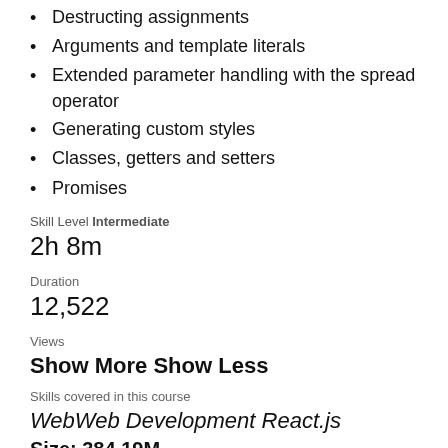Destructing assignments
Arguments and template literals
Extended parameter handling with the spread operator
Generating custom styles
Classes, getters and setters
Promises
Skill Level Intermediate
2h 8m
Duration
12,522
Views
Show More Show Less
Skills covered in this course
WebWeb Development React.js
Size: 384.19M